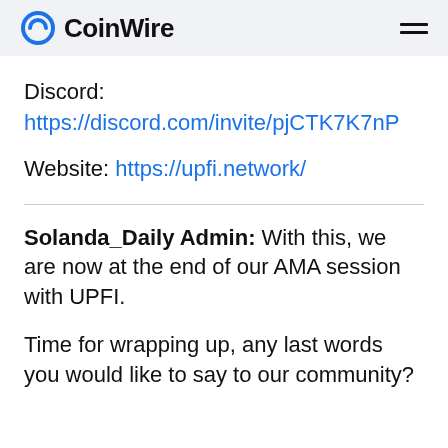CoinWire
Discord:
https://discord.com/invite/pjCTK7K7nP
Website: https://upfi.network/
Solanda_Daily Admin: With this, we are now at the end of our AMA session with UPFI.
Time for wrapping up, any last words you would like to say to our community?